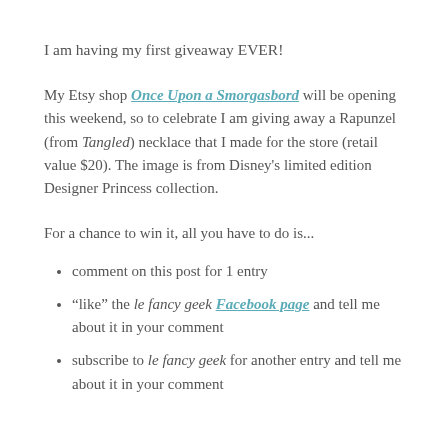I am having my first giveaway EVER!
My Etsy shop Once Upon a Smorgasbord will be opening this weekend, so to celebrate I am giving away a Rapunzel (from Tangled) necklace that I made for the store (retail value $20). The image is from Disney's limited edition Designer Princess collection.
For a chance to win it, all you have to do is...
comment on this post for 1 entry
“like” the le fancy geek Facebook page and tell me about it in your comment
subscribe to le fancy geek for another entry and tell me about it in your comment